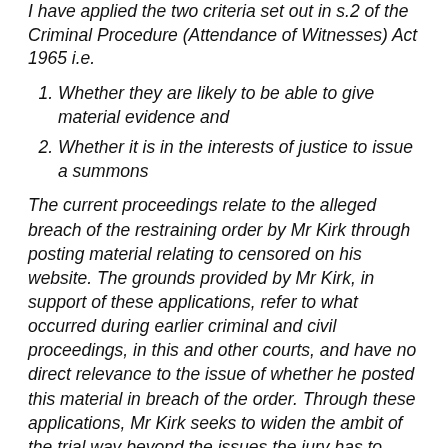I have applied the two criteria set out in s.2 of the Criminal Procedure (Attendance of Witnesses) Act 1965 i.e.
Whether they are likely to be able to give material evidence and
Whether it is in the interests of justice to issue a summons
The current proceedings relate to the alleged breach of the restraining order by Mr Kirk through posting material relating to censored on his website. The grounds provided by Mr Kirk, in support of these applications, refer to what occurred during earlier criminal and civil proceedings, in this and other courts, and have no direct relevance to the issue of whether he posted this material in breach of the order. Through these applications, Mr Kirk seeks to widen the ambit of the trial way beyond the issues the jury has to